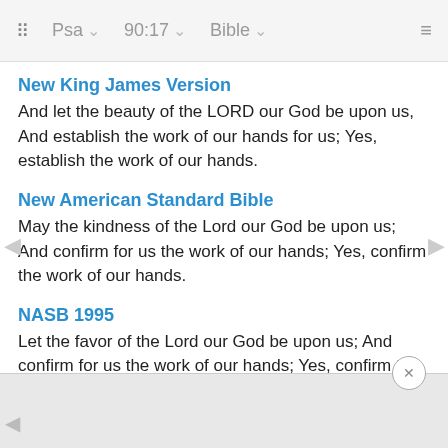Psa  90:17  Bible
New King James Version
And let the beauty of the LORD our God be upon us, And establish the work of our hands for us; Yes, establish the work of our hands.
New American Standard Bible
May the kindness of the Lord our God be upon us; And confirm for us the work of our hands; Yes, confirm the work of our hands.
NASB 1995
Let the favor of the Lord our God be upon us; And confirm for us the work of our hands; Yes, confirm the work of our hands.
NASB 1977
And l… s; And c… s,